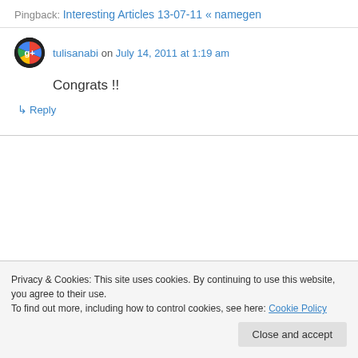Pingback: Interesting Articles 13-07-11 « namegen
tulisanabi on July 14, 2011 at 1:19 am
Congrats !!
↳ Reply
Privacy & Cookies: This site uses cookies. By continuing to use this website, you agree to their use.
To find out more, including how to control cookies, see here: Cookie Policy
Close and accept